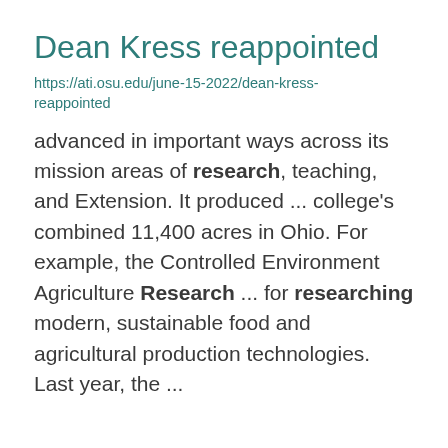Dean Kress reappointed
https://ati.osu.edu/june-15-2022/dean-kress-reappointed
advanced in important ways across its mission areas of research, teaching, and Extension. It produced ... college’s combined 11,400 acres in Ohio. For example, the Controlled Environment Agriculture Research ... for researching modern, sustainable food and agricultural production technologies. Last year, the ...
Leonardo Deiss
https://senr.osu.edu/our-people/leonardo-deiss